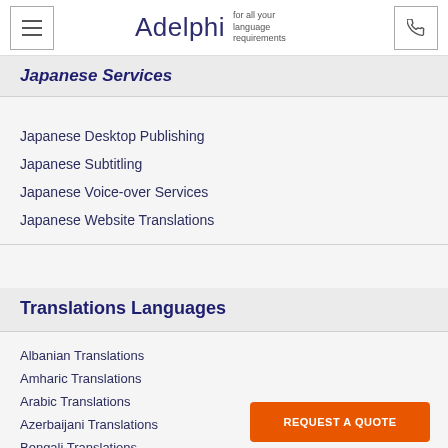Adelphi for all your language requirements
Japanese Services
Japanese Desktop Publishing
Japanese Subtitling
Japanese Voice-over Services
Japanese Website Translations
Translations Languages
Albanian Translations
Amharic Translations
Arabic Translations
Azerbaijani Translations
Bengali Translations